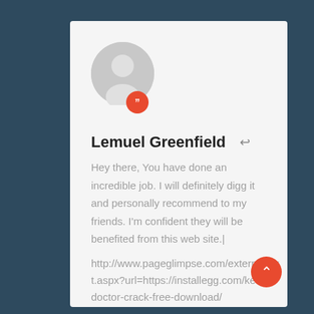[Figure (illustration): Circular gray avatar/profile placeholder icon with a person silhouette. A small red circle badge with a quotation mark icon overlaps the bottom of the avatar.]
Lemuel Greenfield
Hey there, You have done an incredible job. I will definitely digg it and personally recommend to my friends. I'm confident they will be benefited from this web site.|
http://www.pageglimpse.com/external/ext.aspx?url=https://installegg.com/kerish-doctor-crack-free-download/